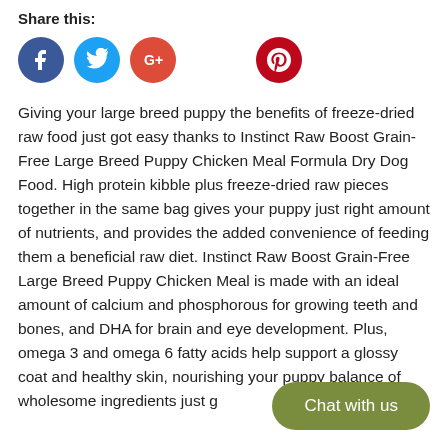Share this:
[Figure (illustration): Social media share icons: Facebook (blue circle with f), Twitter (cyan circle with bird), Google+ (red circle with G+), Pinterest (dark red circle with P)]
Giving your large breed puppy the benefits of freeze-dried raw food just got easy thanks to Instinct Raw Boost Grain-Free Large Breed Puppy Chicken Meal Formula Dry Dog Food. High protein kibble plus freeze-dried raw pieces together in the same bag gives your puppy just right amount of nutrients, and provides the added convenience of feeding them a beneficial raw diet. Instinct Raw Boost Grain-Free Large Breed Puppy Chicken Meal is made with an ideal amount of calcium and phosphorous for growing teeth and bones, and DHA for brain and eye development. Plus, omega 3 and omega 6 fatty acids help support a glossy coat and healthy skin, nourishing your pupp... balance of wholesome ingredients just g...
[Figure (other): Chat with us button - olive green rounded pill button with white text]